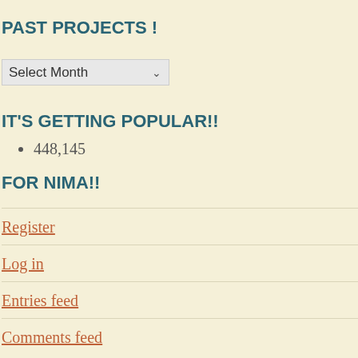PAST PROJECTS !
[Figure (other): Select Month dropdown widget]
IT'S GETTING POPULAR!!
448,145
FOR NIMA!!
Register
Log in
Entries feed
Comments feed